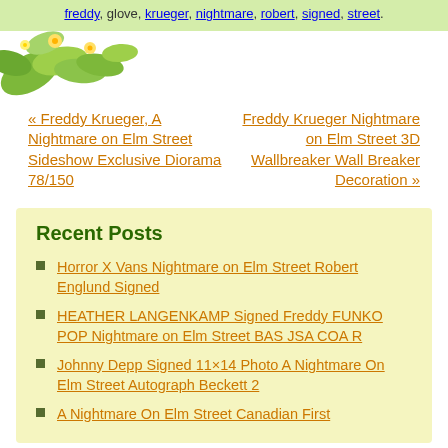freddy, glove, krueger, nightmare, robert, signed, street.
[Figure (illustration): Floral/leaf decoration, green leaves and yellow flowers in top-left area]
« Freddy Krueger, A Nightmare on Elm Street Sideshow Exclusive Diorama 78/150
Freddy Krueger Nightmare on Elm Street 3D Wallbreaker Wall Breaker Decoration »
Recent Posts
Horror X Vans Nightmare on Elm Street Robert Englund Signed
HEATHER LANGENKAMP Signed Freddy FUNKO POP Nightmare on Elm Street BAS JSA COA R
Johnny Depp Signed 11×14 Photo A Nightmare On Elm Street Autograph Beckett 2
A Nightmare On Elm Street Canadian First